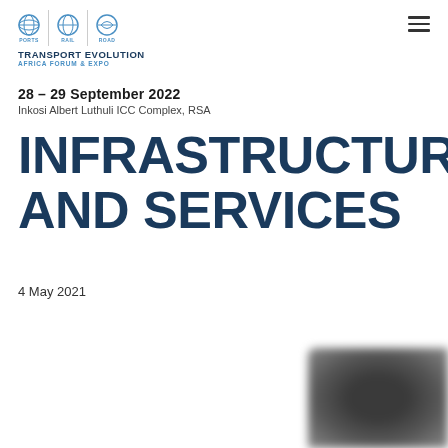TRANSPORT EVOLUTION AFRICA FORUM & EXPO
28 – 29 September 2022
Inkosi Albert Luthuli ICC Complex, RSA
INFRASTRUCTURE AND SERVICES
4 May 2021
[Figure (photo): Blurred photograph, likely showing transport infrastructure or event imagery]